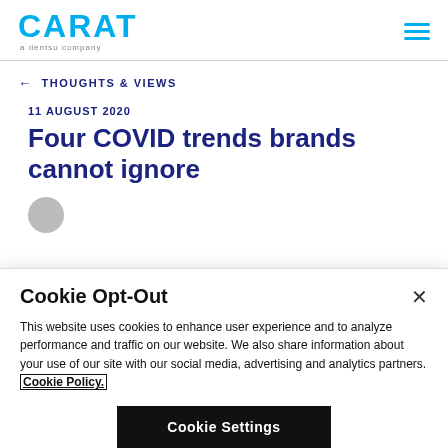CARAT — a dentsu company
← THOUGHTS & VIEWS
11 AUGUST 2020
Four COVID trends brands cannot ignore
Cookie Opt-Out
This website uses cookies to enhance user experience and to analyze performance and traffic on our website. We also share information about your use of our site with our social media, advertising and analytics partners. Cookie Policy.
Cookie Settings